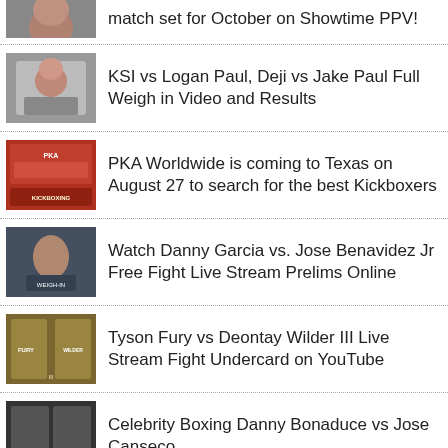match set for October on Showtime PPV!
KSI vs Logan Paul, Deji vs Jake Paul Full Weigh in Video and Results
PKA Worldwide is coming to Texas on August 27 to search for the best Kickboxers
Watch Danny Garcia vs. Jose Benavidez Jr Free Fight Live Stream Prelims Online
Tyson Fury vs Deontay Wilder III Live Stream Fight Undercard on YouTube
Celebrity Boxing Danny Bonaduce vs Jose Canseco